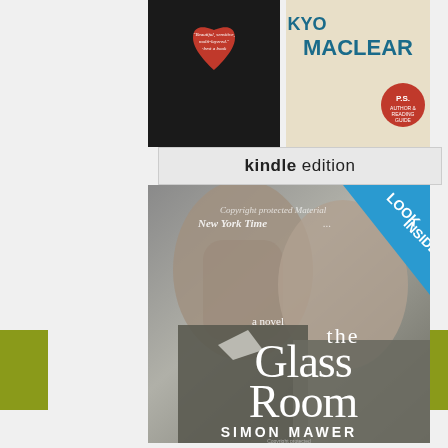[Figure (photo): Two small book cover thumbnails at top: one with a red heart design and quote text, one for 'Kyo Maclear' with P.S. branding]
kindle edition
[Figure (photo): Main book cover: 'The Glass Room' by Simon Mawer, a novel. Black and white close-up photo of two faces. 'New York Times' text partially visible. Blue 'LOOK INSIDE' banner in top right corner. Large serif title text 'the Glass Room' and author name 'SIMON MAWER' at bottom.]